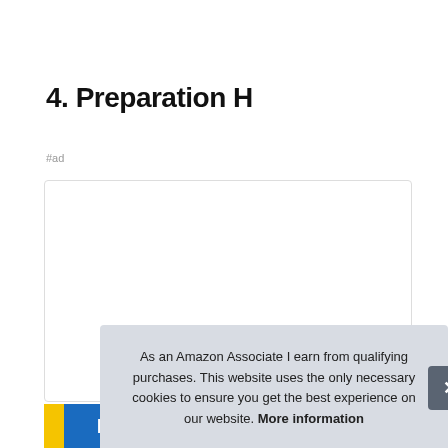4. Preparation H
#ad
[Figure (photo): Product image area for Preparation H with white background box, showing bottom strip with yellow and blue branding with 'PREPARATION H' text and 'PAIN RELIEF' label on the right side.]
As an Amazon Associate I earn from qualifying purchases. This website uses the only necessary cookies to ensure you get the best experience on our website. More information